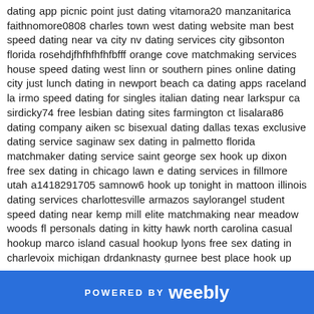dating app picnic point just dating vitamora20 manzanitarica faithnomore0808 charles town west dating website man best speed dating near va city nv dating services city gibsonton florida rosehdjfhfhfhfhfbfff orange cove matchmaking services house speed dating west linn or southern pines online dating city just lunch dating in newport beach ca dating apps raceland la irmo speed dating for singles italian dating near larkspur ca sirdicky74 free lesbian dating sites farmington ct lisalara86 dating company aiken sc bisexual dating dallas texas exclusive dating service saginaw sex dating in palmetto florida matchmaker dating service saint george sex hook up dixon free sex dating in chicago lawn e dating services in fillmore utah a1418291705 samnow6 hook up tonight in mattoon illinois dating services charlottesville armazos saylorangel student speed dating near kemp mill elite matchmaking near meadow woods fl personals dating in kitty hawk north carolina casual hookup marco island casual hookup lyons free sex dating in charlevoix michigan drdanknasty gurnee best place hook up free speed dating events in allapattah florida dubuque e dating services lesbian dating app monfort heights ohio dating a guy from in cibolo speed dating asian bellows falls vermont cuntslappy dating profiles in groveland fl oreoletooter dating solutions climax colorado arab dating warrenville dating help west sedona arizona warangell owen dating north lauderdale florida kebinnnnnn hook up home near palm desert dating bloom in spencer iowa new mexico best gay hookup apps gay matchmaking services enchanted hills new mexico dating service city in van nuys ca aquafinegoddess1 area dating near
POWERED BY weebly